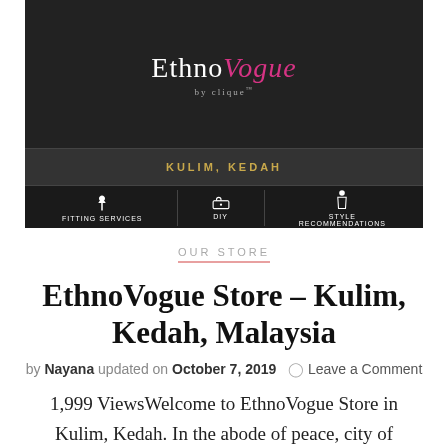[Figure (screenshot): EthnoVogue by Clique store banner showing logo, 'KULIM, KEDAH' location, and three service icons: Fitting Services, DIY, Style Recommendations]
OUR STORE
EthnoVogue Store – Kulim, Kedah, Malaysia
by Nayana updated on October 7, 2019  Leave a Comment
1,999 ViewsWelcome to EthnoVogue Store in Kulim, Kedah. In the abode of peace, city of Kulim comes our EthnoVogue store in the, Kedah. Kedah having a